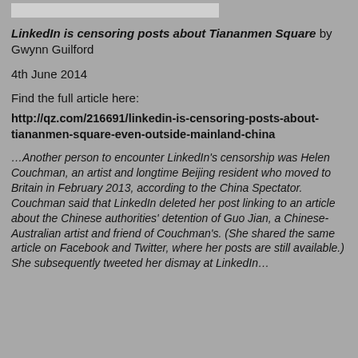[Figure (other): Gray/white rectangular image at the top of the page]
LinkedIn is censoring posts about Tiananmen Square by Gwynn Guilford
4th June 2014
Find the full article here:
http://qz.com/216691/linkedin-is-censoring-posts-about-tiananmen-square-even-outside-mainland-china
…Another person to encounter LinkedIn's censorship was Helen Couchman, an artist and longtime Beijing resident who moved to Britain in February 2013, according to the China Spectator. Couchman said that LinkedIn deleted her post linking to an article about the Chinese authorities' detention of Guo Jian, a Chinese-Australian artist and friend of Couchman's. (She shared the same article on Facebook and Twitter, where her posts are still available.) She subsequently tweeted her dismay at LinkedIn…